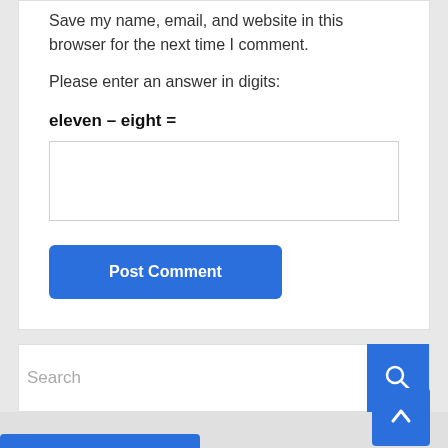Save my name, email, and website in this browser for the next time I comment.
Please enter an answer in digits:
eleven – eight =
Post Comment
Search